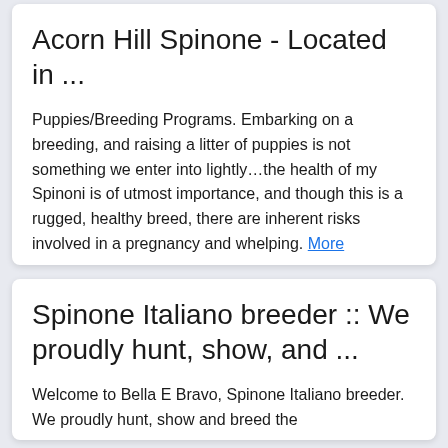Acorn Hill Spinone - Located in ...
Puppies/Breeding Programs. Embarking on a breeding, and raising a litter of puppies is not something we enter into lightly…the health of my Spinoni is of utmost importance, and though this is a rugged, healthy breed, there are inherent risks involved in a pregnancy and whelping. More
Spinone Italiano breeder :: We proudly hunt, show, and ...
Welcome to Bella E Bravo, Spinone Italiano breeder. We proudly hunt, show and breed the